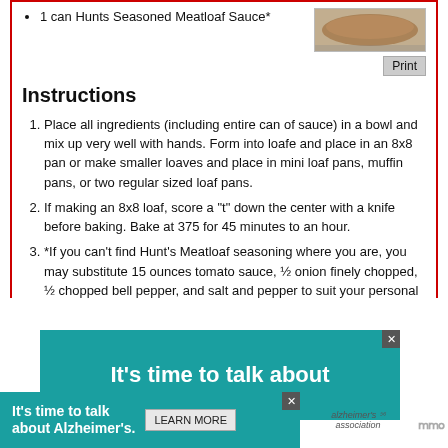1 can Hunts Seasoned Meatloaf Sauce*
Print
Instructions
Place all ingredients (including entire can of sauce) in a bowl and mix up very well with hands. Form into loafe and place in an 8x8 pan or make smaller loaves and place in mini loaf pans, muffin pans, or two regular sized loaf pans.
If making an 8x8 loaf, score a "t" down the center with a knife before baking. Bake at 375 for 45 minutes to an hour.
*If you can't find Hunt's Meatloaf seasoning where you are, you may substitute 15 ounces tomato sauce, ½ onion finely chopped, ½ chopped bell pepper, and salt and pepper to suit your personal taste. Unfortunately, our Wal Mart has quit carrying Hunt's meatloaf seasoning but I have found it at the local Piggly Wiggly and the people are so very nice there!
[Figure (infographic): Alzheimer's Association advertisement: 'It's time to talk about' in teal background (top), and lower overlay with 'It's time to talk about Alzheimer's.' with Learn More button and Alzheimer's Association logo]